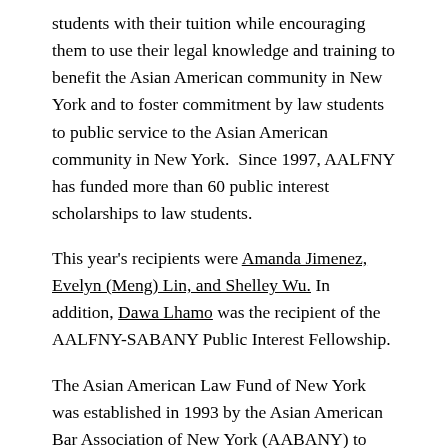students with their tuition while encouraging them to use their legal knowledge and training to benefit the Asian American community in New York and to foster commitment by law students to public service to the Asian American community in New York. Since 1997, AALFNY has funded more than 60 public interest scholarships to law students.
This year's recipients were Amanda Jimenez, Evelyn (Meng) Lin, and Shelley Wu. In addition, Dawa Lhamo was the recipient of the AALFNY-SABANY Public Interest Fellowship.
The Asian American Law Fund of New York was established in 1993 by the Asian American Bar Association of New York (AABANY) to create and support non-profit and charitable efforts to eliminate prejudice and discrimination and to defend human and civil rights.